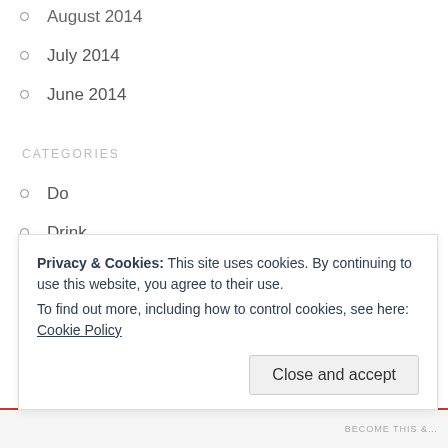August 2014
July 2014
June 2014
CATEGORIES
Do
Drink
Eat
Know
Read
See
Shop
Travel
Privacy & Cookies: This site uses cookies. By continuing to use this website, you agree to their use. To find out more, including how to control cookies, see here: Cookie Policy
Close and accept